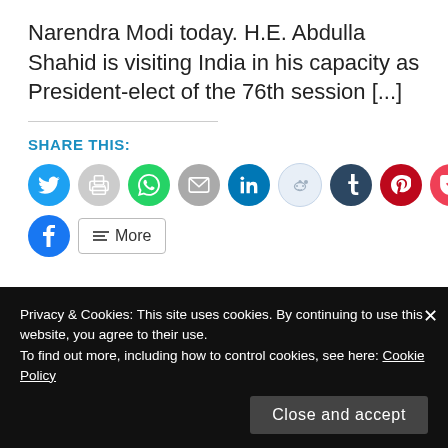Narendra Modi today.  H.E. Abdulla Shahid is visiting India in his capacity as President-elect of the 76th session [...]
SHARE THIS:
[Figure (other): Row of social media share icon buttons: Twitter, Print, WhatsApp, Email, LinkedIn, Reddit, Tumblr, Pinterest, Pocket, Telegram, and a second row with Facebook and a More button]
LIKE THIS:
Loading
Privacy & Cookies: This site uses cookies. By continuing to use this website, you agree to their use.
To find out more, including how to control cookies, see here: Cookie Policy